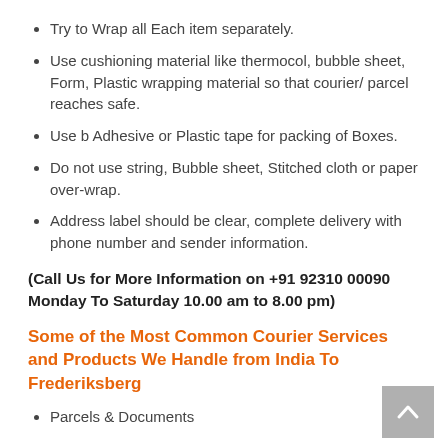Try to Wrap all Each item separately.
Use cushioning material like thermocol, bubble sheet, Form, Plastic wrapping material so that courier/ parcel reaches safe.
Use b Adhesive or Plastic tape for packing of Boxes.
Do not use string, Bubble sheet, Stitched cloth or paper over-wrap.
Address label should be clear, complete delivery with phone number and sender information.
(Call Us for More Information on +91 92310 00090 Monday To Saturday 10.00 am to 8.00 pm)
Some of the Most Common Courier Services and Products We Handle from India To Frederiksberg
Parcels & Documents